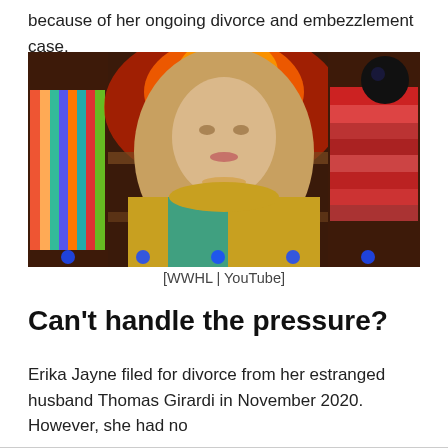because of her ongoing divorce and embezzlement case.
[Figure (photo): A blonde woman in a colorful yellow and green patterned top sitting in a TV show set (Watch What Happens Live), with colorful bookshelves and glowing backgrounds visible behind her.]
[WWHL | YouTube]
Can't handle the pressure?
Erika Jayne filed for divorce from her estranged husband Thomas Girardi in November 2020. However, she had no